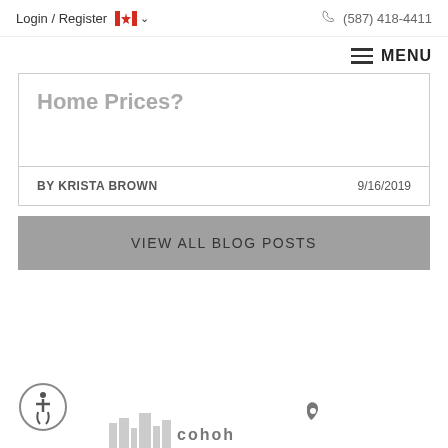Login / Register  (587) 418-4411
MENU
Home Prices?
BY KRISTA BROWN  9/16/2019
VIEW ALL BLOG POSTS